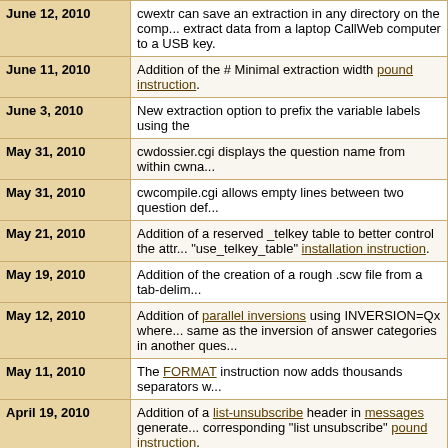| Date | Description |
| --- | --- |
| June 12, 2010 | cwextr can save an extraction in any directory on the comp... extract data from a laptop CallWeb computer to a USB key. |
| June 11, 2010 | Addition of the # Minimal extraction width pound instruction. |
| June 3, 2010 | New extraction option to prefix the variable labels using the |
| May 31, 2010 | cwdossier.cgi displays the question name from within cwna... |
| May 31, 2010 | cwcompile.cgi allows empty lines between two question def... |
| May 21, 2010 | Addition of a reserved _telkey table to better control the attr... "use_telkey_table" installation instruction. |
| May 19, 2010 | Addition of the creation of a rough .scw file from a tab-delim... |
| May 12, 2010 | Addition of parallel inversions using INVERSION=Qx where... same as the inversion of answer categories in another ques... |
| May 11, 2010 | The FORMAT instruction now adds thousands separators w... |
| April 19, 2010 | Addition of a list-unsubscribe header in messages generate... corresponding "list unsubscribe" pound instruction. |
| April 18, 2010 | Addition of a sender header in messages generated by cwe... |
| April 8, 2010 | cwextr.cgi can use a delimiter different from a comma in cs... Excel, for example). The new csv_delimiter installation instr... default. |
| April 8, 2010 | A comparison of the .scw and .scw.last files is saved in the ... |
| April 6, 2010 | Addition of the QUESTION() operator in display conditions. |
| March 15, 2010 | cwcompile.cgi identifies an error in the absence of a calcula... |